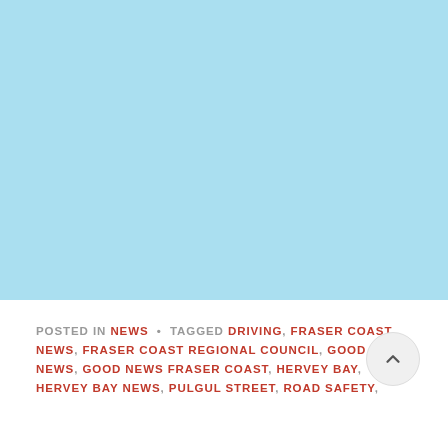[Figure (illustration): Light blue rectangular image placeholder area occupying the top portion of the page.]
POSTED IN NEWS • TAGGED DRIVING, FRASER COAST NEWS, FRASER COAST REGIONAL COUNCIL, GOOD NEWS, GOOD NEWS FRASER COAST, HERVEY BAY, HERVEY BAY NEWS, PULGUL STREET, ROAD SAFETY,